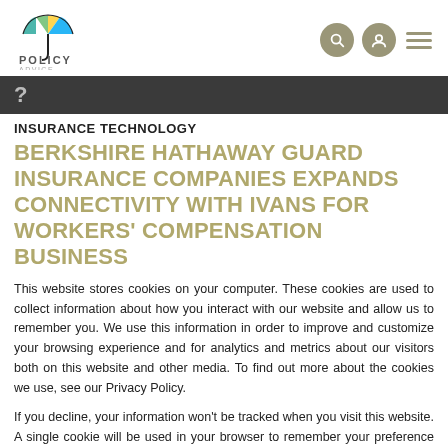Policy Advice logo with navigation icons
[Figure (photo): Dark background hero banner with question mark symbol]
INSURANCE TECHNOLOGY
BERKSHIRE HATHAWAY GUARD INSURANCE COMPANIES EXPANDS CONNECTIVITY WITH IVANS FOR WORKERS' COMPENSATION BUSINESS
This website stores cookies on your computer. These cookies are used to collect information about how you interact with our website and allow us to remember you. We use this information in order to improve and customize your browsing experience and for analytics and metrics about our visitors both on this website and other media. To find out more about the cookies we use, see our Privacy Policy.
If you decline, your information won't be tracked when you visit this website. A single cookie will be used in your browser to remember your preference not to be tracked.